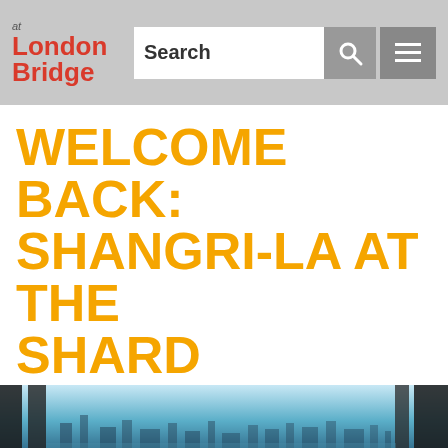at London Bridge — Search
WELCOME BACK: SHANGRI-LA AT THE SHARD
[Figure (photo): Panoramic cityscape view from high floor, London skyline with blue sky and buildings visible through large windows]
We use cookies on our website to give you the most relevant experience by remembering your preferences and repeat visits. By clicking "Accept All", you consent to the use of ALL the cookies. However, you may visit "Cookie Settings" to provide a controlled consent.
Cookie Settings
Accept All